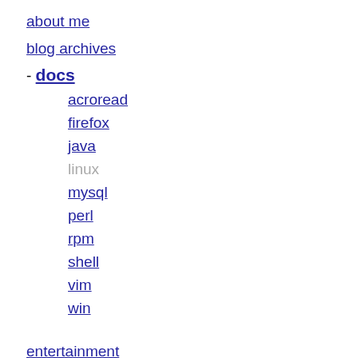about me
blog archives
- docs
acroread
firefox
java
linux
mysql
perl
rpm
shell
vim
win
entertainment